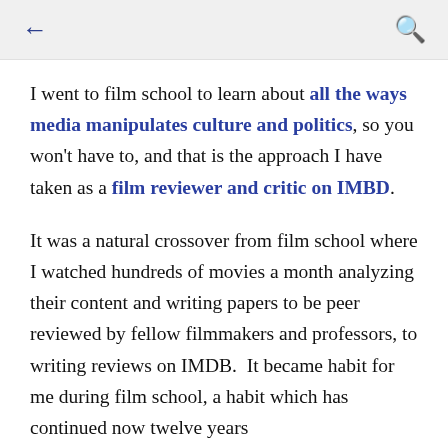← [back] [search]
I went to film school to learn about all the ways media manipulates culture and politics, so you won't have to, and that is the approach I have taken as a film reviewer and critic on IMBD.
It was a natural crossover from film school where I watched hundreds of movies a month analyzing their content and writing papers to be peer reviewed by fellow filmmakers and professors, to writing reviews on IMDB.  It became habit for me during film school, a habit which has continued now twelve years